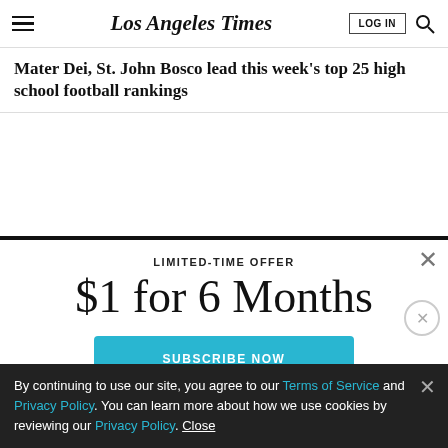Los Angeles Times
Mater Dei, St. John Bosco lead this week's top 25 high school football rankings
LIMITED-TIME OFFER
$1 for 6 Months
SUBSCRIBE NOW
By continuing to use our site, you agree to our Terms of Service and Privacy Policy. You can learn more about how we use cookies by reviewing our Privacy Policy. Close